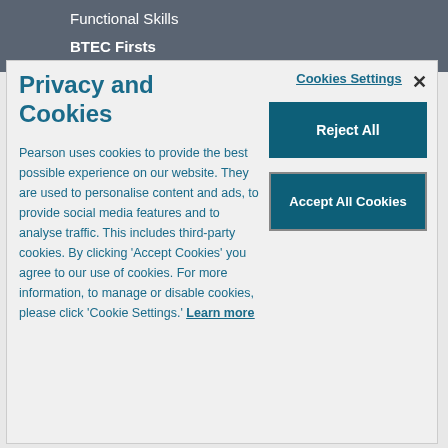Functional Skills
BTEC Firsts
Privacy and Cookies
Pearson uses cookies to provide the best possible experience on our website. They are used to personalise content and ads, to provide social media features and to analyse traffic. This includes third-party cookies. By clicking 'Accept Cookies' you agree to our use of cookies. For more information, to manage or disable cookies, please click 'Cookie Settings.' Learn more
Cookies Settings
Reject All
Accept All Cookies